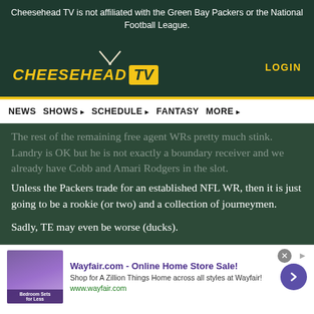Cheesehead TV is not affiliated with the Green Bay Packers or the National Football League.
[Figure (logo): Cheesehead TV logo with yellow stylized text and TV icon on dark green background, with LOGIN link on the right]
NEWS   SHOWS ▸   SCHEDULE ▸   FANTASY   MORE ▸
The rest of the remaining free agent WRs pretty much stink. Landry is OK but he is not exactly a boundary receiver and we already have Cobb and Amari Rodgers in the slot.
Unless the Packers trade for an established NFL WR, then it is just going to be a rookie (or two) and a collection of journeymen.
Sadly, TE may even be worse (ducks).
[Figure (infographic): Wayfair.com advertisement: Online Home Store Sale! Shop for A Zillion Things Home across all styles at Wayfair! www.wayfair.com]